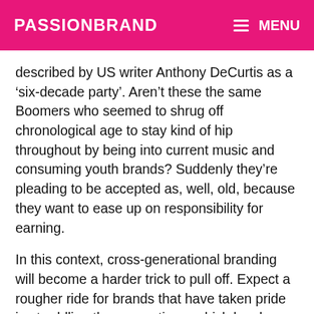PASSIONBRAND   ☰ MENU
described by US writer Anthony DeCurtis as a ‘six-decade party’. Aren’t these the same Boomers who seemed to shrug off chronological age to stay kind of hip throughout by being into current music and consuming youth brands? Suddenly they’re pleading to be accepted as, well, old, because they want to ease up on responsibility for earning.
In this context, cross-generational branding will become a harder trick to pull off. Expect a rougher ride for brands that have taken pride in straddling the generations, which has been such